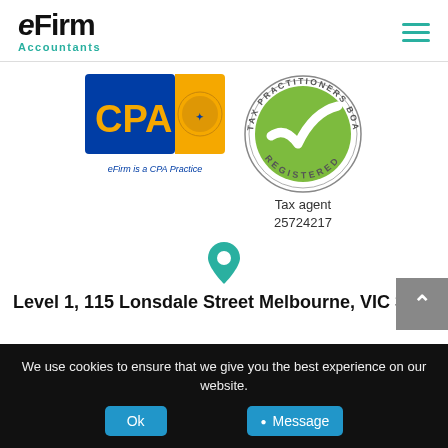[Figure (logo): eFirm Accountants logo with black bold text 'eFirm' and teal 'Accountants' subtitle]
[Figure (logo): Hamburger menu icon (three teal horizontal lines) in top right corner]
[Figure (logo): CPA Australia logo - blue and gold badge with 'CPA' text, subtitle 'eFirm is a CPA Practice']
[Figure (logo): Tax Practitioners Board Registered circular seal with green checkmark]
Tax agent
25724217
[Figure (illustration): Teal map pin / location marker icon]
Level 1, 115 Lonsdale Street Melbourne, VIC 3000
We use cookies to ensure that we give you the best experience on our website.
Ok
Message